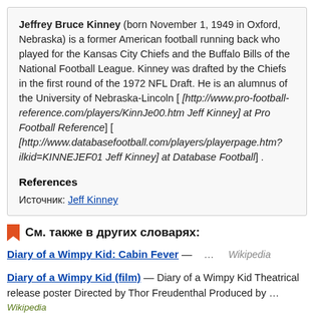Jeffrey Bruce Kinney (born November 1, 1949 in Oxford, Nebraska) is a former American football running back who played for the Kansas City Chiefs and the Buffalo Bills of the National Football League. Kinney was drafted by the Chiefs in the first round of the 1972 NFL Draft. He is an alumnus of the University of Nebraska-Lincoln [ [http://www.pro-football-reference.com/players/KinnJe00.htm Jeff Kinney] at Pro Football Reference] [ [http://www.databasefootball.com/players/playerpage.htm?ilkid=KINNEJEF01 Jeff Kinney] at Database Football] .
References
Источник: Jeff Kinney
См. также в других словарях:
Diary of a Wimpy Kid: Cabin Fever — … Wikipedia
Diary of a Wimpy Kid (film) — Diary of a Wimpy Kid Theatrical release poster Directed by Thor Freudenthal Produced by … Wikipedia